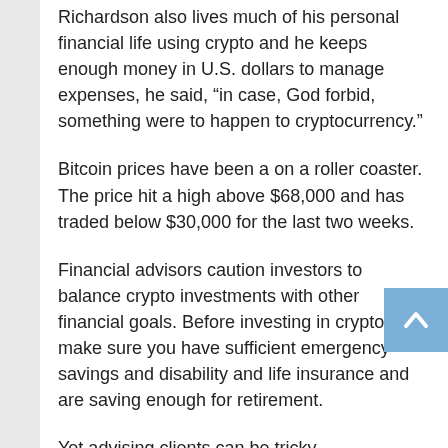Richardson also lives much of his personal financial life using crypto and he keeps enough money in U.S. dollars to manage expenses, he said, “in case, God forbid, something were to happen to cryptocurrency.”
Bitcoin prices have been a on a roller coaster. The price hit a high above $68,000 and has traded below $30,000 for the last two weeks.
Financial advisors caution investors to balance crypto investments with other financial goals. Before investing in crypto, make sure you have sufficient emergency savings and disability and life insurance and are saving enough for retirement.
Yet advising clients can be tricky.
Ersinkisacik | Istock | Getty Images
“We’re trying to figure out as an advisor, and as a fiduciary,